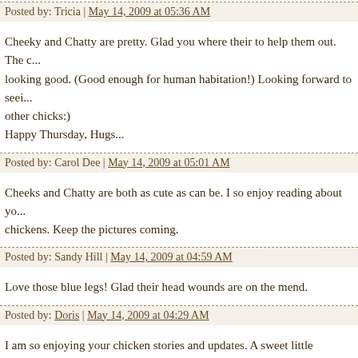Posted by: Tricia | May 14, 2009 at 05:36 AM
Cheeky and Chatty are pretty. Glad you where their to help them out. The c... looking good. (Good enough for human habitation!) Looking forward to seei... other chicks:)
Happy Thursday, Hugs...
Posted by: Carol Dee | May 14, 2009 at 05:01 AM
Cheeks and Chatty are both as cute as can be. I so enjoy reading about yo... chickens. Keep the pictures coming.
Posted by: Sandy Hill | May 14, 2009 at 04:59 AM
Love those blue legs! Glad their head wounds are on the mend.
Posted by: Doris | May 14, 2009 at 04:29 AM
I am so enjoying your chicken stories and updates. A sweet little distraction... life gets challenging. Thank you!